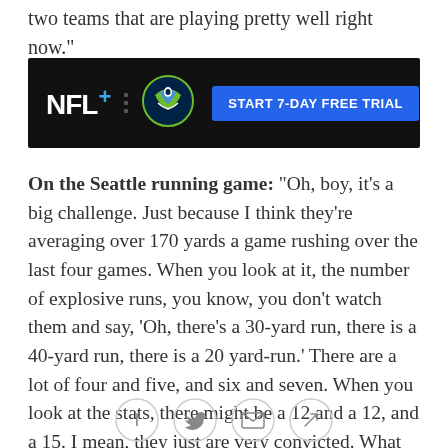two teams that are playing pretty well right now."
[Figure (other): NFL+ advertisement banner featuring NFL+ logo, Seattle Seahawks logo, and a blue 'START 7-DAY FREE TRIAL' button on a dark background]
On the Seattle running game: "Oh, boy, it's a big challenge. Just because I think they're averaging over 170 yards a game rushing over the last four games. When you look at it, the number of explosive runs, you know, you don't watch them and say, 'Oh, there's a 30-yard run, there is a 40-yard run, there is a 20 yard-run.' There are a lot of four and five, and six and seven. When you look at the stats, there might be a 12 and a 12, and a 15. I mean, they just are very convicted. What I've seen is it's impacting third down. You don't see much third-and-seven, 10 or 11-plus. You see in